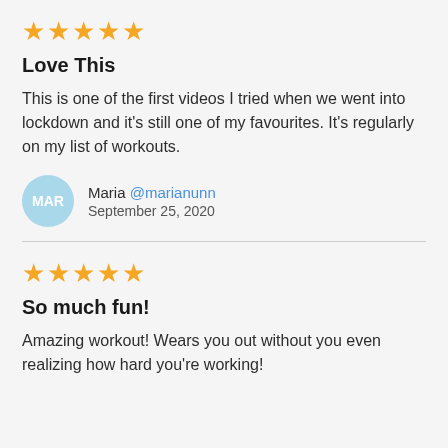★★★★★
Love This
This is one of the first videos I tried when we went into lockdown and it's still one of my favourites. It's regularly on my list of workouts.
Maria @marianunn
September 25, 2020
★★★★★
So much fun!
Amazing workout! Wears you out without you even realizing how hard you're working!